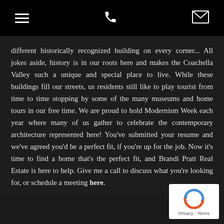[menu icon] [phone icon] [email icon]
different historically recognized building on every corner... All jokes aside, history is in our roots here and makes the Coachella Valley such a unique and special place to live. While these buildings fill our streets, us residents still like to play tourist from time to time stopping by some of the many museums and home tours in our free time. We are proud to hold Modernism Week each year where many of us gather to celebrate the contemporary architecture represented here! You've submitted your resume and we've agreed you'd be a perfect fit, if you're up for the job. Now it's time to find a home that's the perfect fit, and Brandi Pratt Real Estate is here to help. Give me a call to discuss what you're looking for, or schedule a meeting here.
[Figure (logo): Google reCAPTCHA badge with circular arrow logo and Privacy - Terms text]